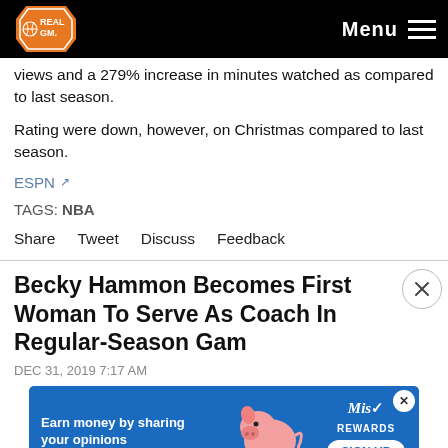RealGM | Menu
views and a 279% increase in minutes watched as compared to last season.
Rating were down, however, on Christmas compared to last season.
ESPN [external link]
TAGS: NBA
Share   Tweet   Discuss   Feedback
Becky Hammon Becomes First Woman To Serve As Coach In Regular-Season Game
DEC 31, 2019 7:17 AM
[Figure (other): Advertisement banner: blue background with pig illustration, text 'Earn money by sharing your opinions', Mist Rewards logo and SIGN UP button]